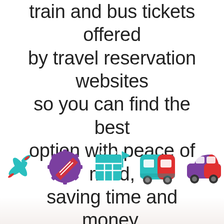train and bus tickets offered by travel reservation websites so you can find the best option with peace of mind, saving time and money.
[Figure (illustration): Five colorful travel icons: a teal/red airplane, a purple/red gear-ticket badge, a teal grid/calendar icon, a teal/red bus, and a purple/red car.]